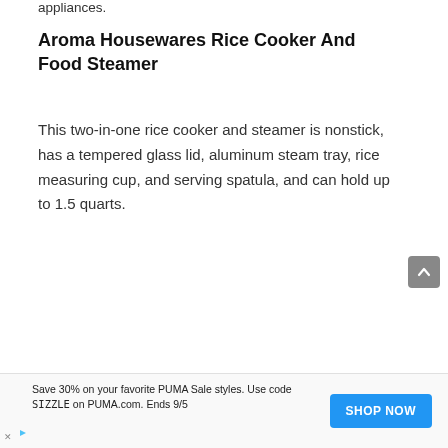appliances.
Aroma Housewares Rice Cooker And Food Steamer
This two-in-one rice cooker and steamer is nonstick, has a tempered glass lid, aluminum steam tray, rice measuring cup, and serving spatula, and can hold up to 1.5 quarts.
Save 30% on your favorite PUMA Sale styles. Use code SIZZLE on PUMA.com. Ends 9/5